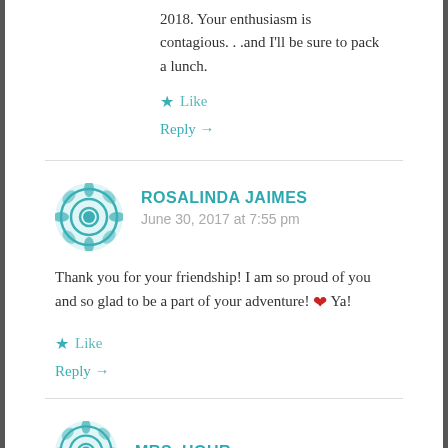2018. Your enthusiasm is contagious. . .and I'll be sure to pack a lunch.
★ Like
Reply →
ROSALINDA JAIMES
June 30, 2017 at 7:55 pm
Thank you for your friendship! I am so proud of you and so glad to be a part of your adventure! ❤ Ya!
★ Like
Reply →
MRS. HOUR